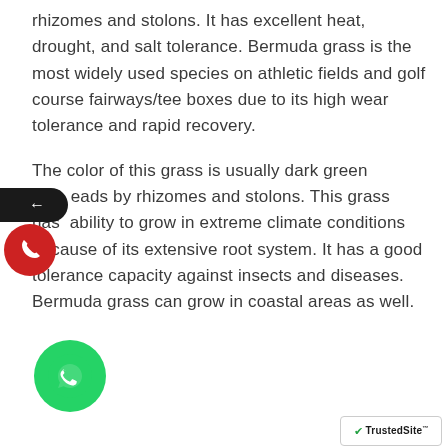rhizomes and stolons. It has excellent heat, drought, and salt tolerance. Bermuda grass is the most widely used species on athletic fields and golf course fairways/tee boxes due to its high wear tolerance and rapid recovery.
The color of this grass is usually dark green and spreads by rhizomes and stolons. This grass has ability to grow in extreme climate conditions because of its extensive root system. It has a good tolerance capacity against insects and diseases. Bermuda grass can grow in coastal areas as well.
[Figure (illustration): WhatsApp contact button (green circle with WhatsApp phone icon)]
[Figure (logo): TrustedSite badge with checkmark]